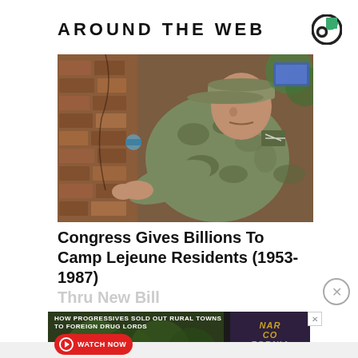AROUND THE WEB
[Figure (photo): Military serviceman in camouflage uniform and cap crouching against a brick wall, working on a pipe or valve fitting]
Congress Gives Billions To Camp Lejeune Residents (1953-1987)
Thru New Bill
[Figure (infographic): Advertisement banner: HOW PROGRESSIVES SOLD OUT RURAL TOWNS TO FOREIGN DRUG LORDS — WATCH NOW button — NARCOFORNIA logo]